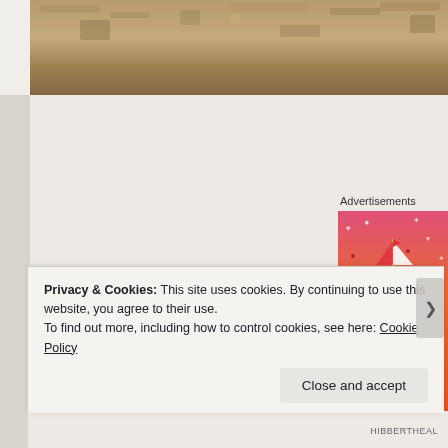[Figure (photo): Aged, textured surface photo strip at top of page with brownish/golden worn texture]
Advertisements
[Figure (illustration): Colorful advertisement banner with pink-to-orange gradient background, featuring stickers/doodles including a sailboat, skull, musical notes, hearts, and text 'FA...' and 'tu...' in bold white letters, with an octopus at the bottom]
Privacy & Cookies: This site uses cookies. By continuing to use this website, you agree to their use.
To find out more, including how to control cookies, see here: Cookie Policy
Close and accept